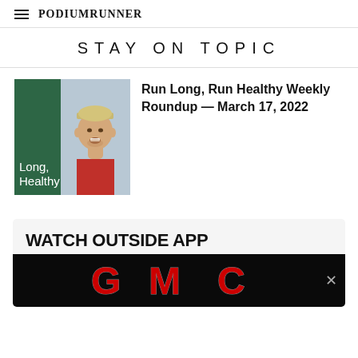PodiumRunner
STAY ON TOPIC
[Figure (photo): Thumbnail image showing green panel with text 'Long, Healthy' and a photo of a male runner wearing a cap]
Run Long, Run Healthy Weekly Roundup — March 17, 2022
WATCH OUTSIDE APP
The Outside App unlocks 600+ hours of
[Figure (logo): GMC logo on black background advertisement banner]